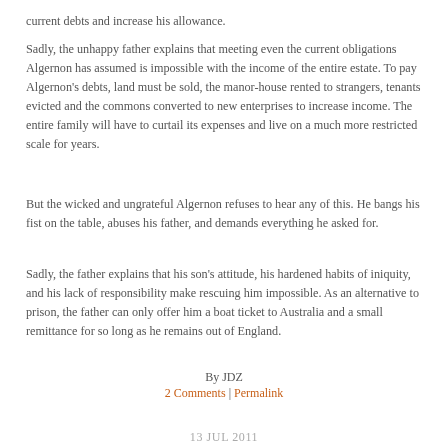current debts and increase his allowance.
Sadly, the unhappy father explains that meeting even the current obligations Algernon has assumed is impossible with the income of the entire estate. To pay Algernon's debts, land must be sold, the manor-house rented to strangers, tenants evicted and the commons converted to new enterprises to increase income. The entire family will have to curtail its expenses and live on a much more restricted scale for years.
But the wicked and ungrateful Algernon refuses to hear any of this. He bangs his fist on the table, abuses his father, and demands everything he asked for.
Sadly, the father explains that his son's attitude, his hardened habits of iniquity, and his lack of responsibility make rescuing him impossible. As an alternative to prison, the father can only offer him a boat ticket to Australia and a small remittance for so long as he remains out of England.
By JDZ
2 Comments | Permalink
13 JUL 2011